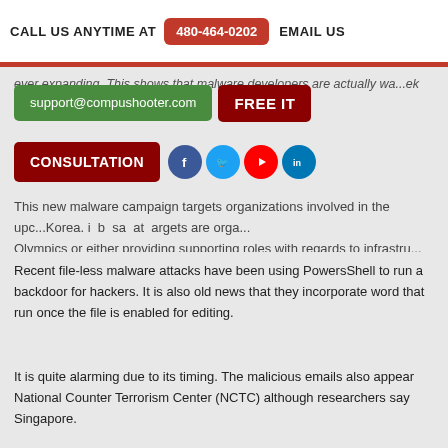CALL US ANYTIME AT 480-464-0202 EMAIL US
support@compushooter.com
FREE IT
ever expanding. This shows that malware developers are actually wa...ek old Pow...
CONSULTATION
This new malware campaign targets organizations involved in the up...Korea. i b sa at argets are orga... Olympics or either providing supporting roles with regards to infrastru...
Recent file-less malware attacks have been using PowersShell to run a backdoor for hackers. It is also old news that they incorporate word that run once the file is enabled for editing.
It is quite alarming due to its timing. The malicious emails also appear National Counter Terrorism Center (NCTC) although researchers say Singapore.
It is a clear message which appears to be a warning from the NCTC t with the actual security testing that are being done by the organizatio...
The email and or attachments are prompting users to enable conte...